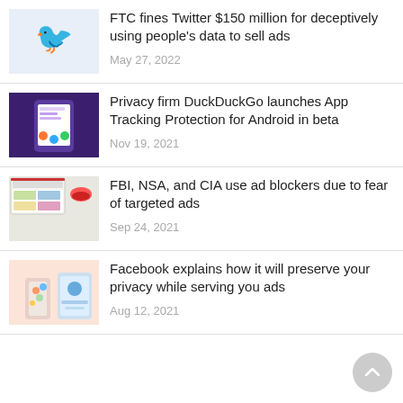[Figure (logo): Twitter bird logo on light blue background]
FTC fines Twitter $150 million for deceptively using people's data to sell ads
May 27, 2022
[Figure (screenshot): DuckDuckGo App Tracking Protection screenshot on Android phone]
Privacy firm DuckDuckGo launches App Tracking Protection for Android in beta
Nov 19, 2021
[Figure (screenshot): FBI/NSA/CIA ad blocker article screenshot with websites]
FBI, NSA, and CIA use ad blockers due to fear of targeted ads
Sep 24, 2021
[Figure (illustration): Facebook privacy and ads illustration with hand holding phone]
Facebook explains how it will preserve your privacy while serving you ads
Aug 12, 2021